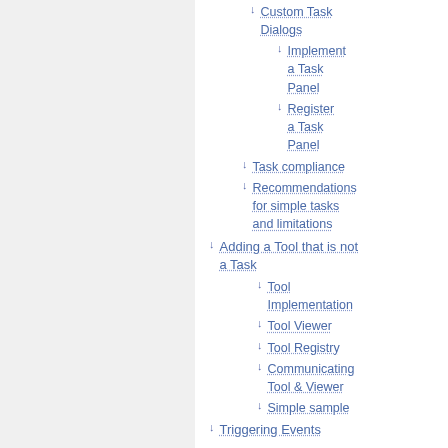↓ Custom Task Dialogs
↓ Implement a Task Panel
↓ Register a Task Panel
↓ Task compliance
↓ Recommendations for simple tasks and limitations
↓ Adding a Tool that is not a Task
↓ Tool Implementation
↓ Tool Viewer
↓ Tool Registry
↓ Communicating Tool & Viewer
↓ Simple sample
↓ Triggering Events